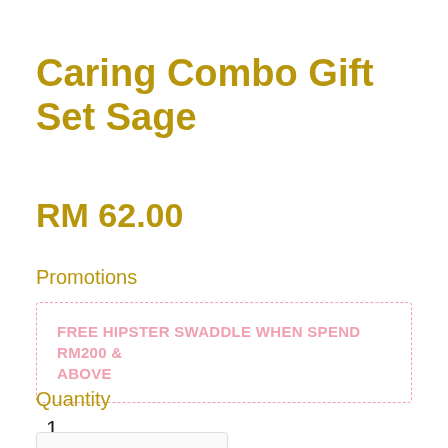Caring Combo Gift Set Sage
RM 62.00
Promotions
FREE HIPSTER SWADDLE WHEN SPEND RM200 & ABOVE
Quantity
1